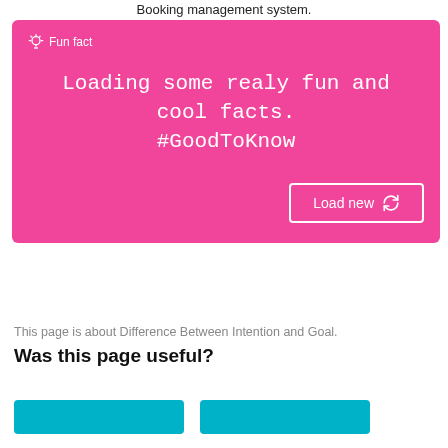Booking management system.
[Figure (infographic): Pink fun fact box with lightbulb icon, label 'Fun fact', large white text 'Loading some realy fun and cool facts. #GoodToKnow', and a 'Load new' button with refresh icon]
This page is about Difference Between Intention and Goal.
Was this page useful?